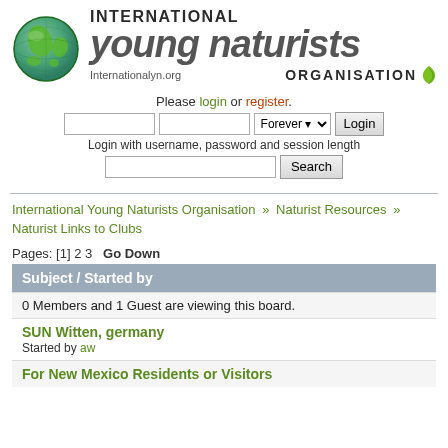[Figure (logo): International Young Naturists Organisation logo with globe and leaf icon, text 'INTERNATIONAL young naturists ORGANISATION' and 'Internationalyn.org']
Please login or register.
Login with username, password and session length
International Young Naturists Organisation » Naturist Resources » Naturist Links to Clubs
Pages: [1] 2 3   Go Down
| Subject / Started by |
| --- |
| 0 Members and 1 Guest are viewing this board. |
| SUN Witten, germany
Started by aw |
| For New Mexico Residents or Visitors |
SUN Witten, germany
Started by aw
For New Mexico Residents or Visitors